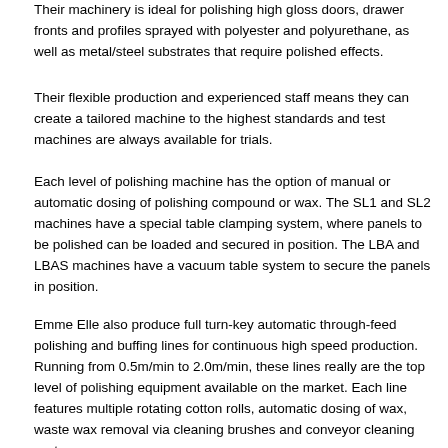Their machinery is ideal for polishing high gloss doors, drawer fronts and profiles sprayed with polyester and polyurethane, as well as metal/steel substrates that require polished effects.
Their flexible production and experienced staff means they can create a tailored machine to the highest standards and test machines are always available for trials.
Each level of polishing machine has the option of manual or automatic dosing of polishing compound or wax. The SL1 and SL2 machines have a special table clamping system, where panels to be polished can be loaded and secured in position. The LBA and LBAS machines have a vacuum table system to secure the panels in position.
Emme Elle also produce full turn-key automatic through-feed polishing and buffing lines for continuous high speed production. Running from 0.5m/min to 2.0m/min, these lines really are the top level of polishing equipment available on the market. Each line features multiple rotating cotton rolls, automatic dosing of wax, waste wax removal via cleaning brushes and conveyor cleaning systems.